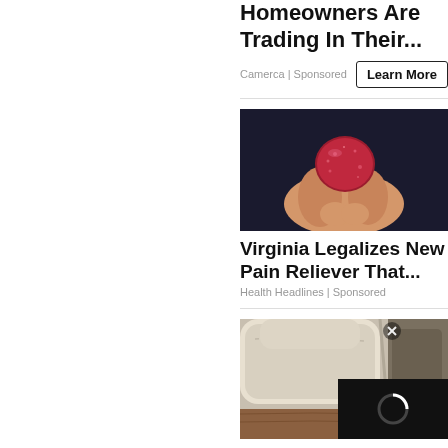Homeowners Are Trading In Their...
Camerca | Sponsored
[Figure (photo): Hand holding a small round red gummy candy against a dark background]
Virginia Legalizes New Pain Reliever That...
Health Headlines | Sponsored
[Figure (photo): Interior of a luxury vehicle showing seat and dashboard area, with a video overlay in the bottom right corner showing a loading spinner and a close (x) button]